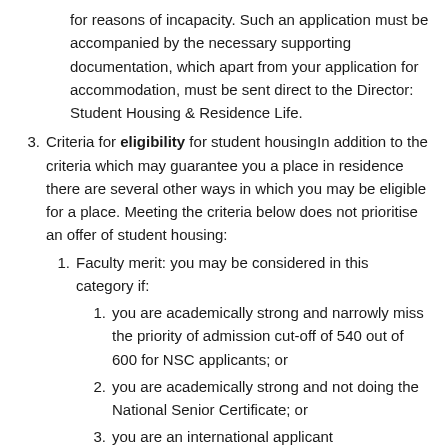for reasons of incapacity. Such an application must be accompanied by the necessary supporting documentation, which apart from your application for accommodation, must be sent direct to the Director: Student Housing & Residence Life.
Criteria for eligibility for student housingIn addition to the criteria which may guarantee you a place in residence there are several other ways in which you may be eligible for a place. Meeting the criteria below does not prioritise an offer of student housing:
Faculty merit: you may be considered in this category if:
you are academically strong and narrowly miss the priority of admission cut-off of 540 out of 600 for NSC applicants; or
you are academically strong and not doing the National Senior Certificate; or
you are an international applicant